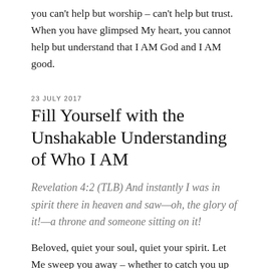you can't help but worship – can't help but trust. When you have glimpsed My heart, you cannot help but understand that I AM God and I AM good.
23 JULY 2017
Fill Yourself with the Unshakable Understanding of Who I AM
Revelation 4:2 (TLB) And instantly I was in spirit there in heaven and saw—oh, the glory of it!—a throne and someone sitting on it!
Beloved, quiet your soul, quiet your spirit. Let Me sweep you away – whether to catch you up into the heavenlies or simply have you rest in My presence. Meet with Me. Be saturated in My glory. Allow yourself to be completely